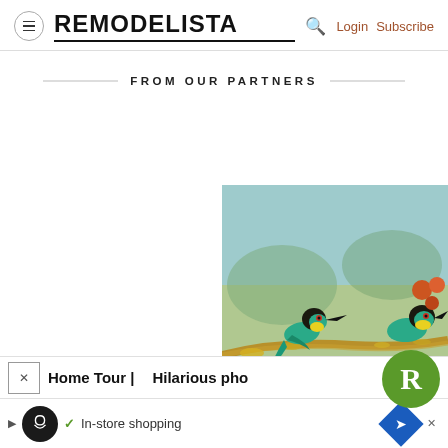REMODELISTA | Login Subscribe
FROM OUR PARTNERS
[Figure (photo): Two colorful bee-eater birds with green, yellow, and teal plumage perched on a branch with yellow lichen]
Home Tour |
Hilarious pho
In-store shopping